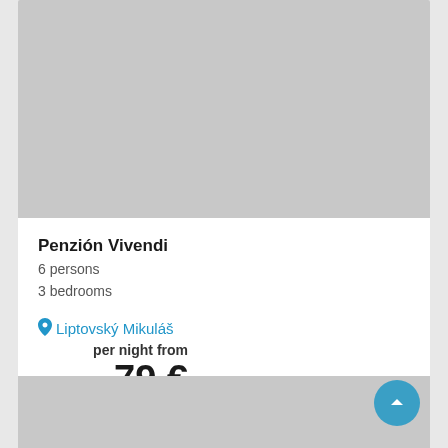[Figure (photo): Gray placeholder image for property listing photo (top)]
Penzión Vivendi
6 persons
3 bedrooms
per night from
79 €
Liptovský Mikuláš
[Figure (photo): Gray placeholder image for property listing photo (bottom)]